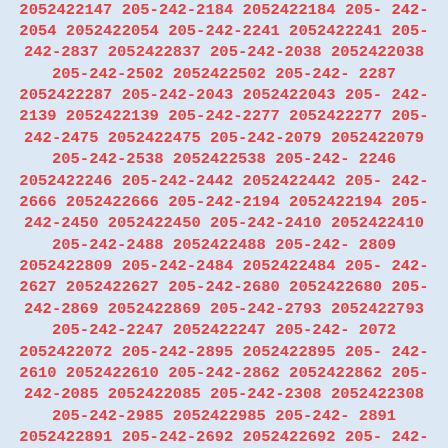205-242-2447 2052422447 205-242-2594 2052422594 205-242-2028 2052422028 205-242-2147 2052422147 205-242-2184 2052422184 205-242-2054 2052422054 205-242-2241 2052422241 205-242-2837 2052422837 205-242-2038 2052422038 205-242-2502 2052422502 205-242-2287 2052422287 205-242-2043 2052422043 205-242-2139 2052422139 205-242-2277 2052422277 205-242-2475 2052422475 205-242-2079 2052422079 205-242-2538 2052422538 205-242-2246 2052422246 205-242-2442 2052422442 205-242-2666 2052422666 205-242-2194 2052422194 205-242-2450 2052422450 205-242-2410 2052422410 205-242-2488 2052422488 205-242-2809 2052422809 205-242-2484 2052422484 205-242-2627 2052422627 205-242-2680 2052422680 205-242-2869 2052422869 205-242-2793 2052422793 205-242-2247 2052422247 205-242-2072 2052422072 205-242-2895 2052422895 205-242-2610 2052422610 205-242-2862 2052422862 205-242-2085 2052422085 205-242-2308 2052422308 205-242-2985 2052422985 205-242-2891 2052422891 205-242-2692 2052422692 205-242-2762 2052422762 205-242-2665 2052422665 205-242-2238 2052422238 205-242-2216